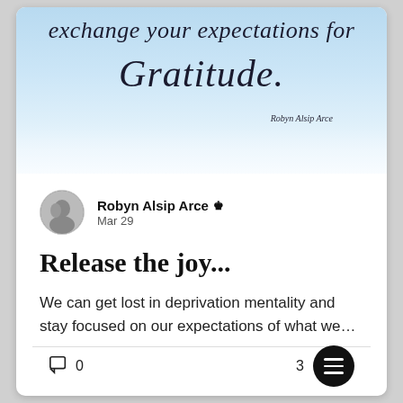[Figure (illustration): Decorative inspirational image with light blue sky background, text reading 'exchange your expectations for Gratitude.' with cursive styling and 'Robyn Alsip Arce' attribution]
Robyn Alsip Arce 👑
Mar 29
Release the joy...
We can get lost in deprivation mentality and stay focused on our expectations of what we...
0
3